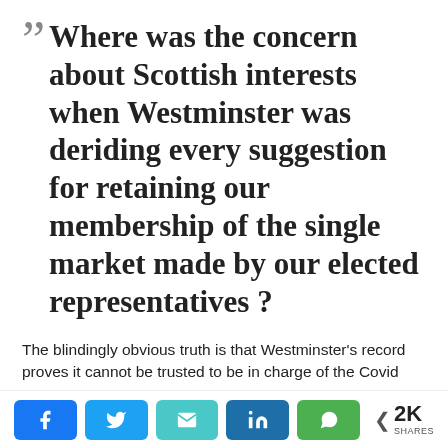“Where was the concern about Scottish interests when Westminster was deriding every suggestion for retaining our membership of the single market made by our elected representatives ?
The blindingly obvious truth is that Westminster’s record proves it cannot be trusted to be in charge of the Covid recovery.
Look at the dog’s breakfast it has made of Brexit, which has destroyed so much of the British – and particularly
[Figure (infographic): Social share bar with Facebook, Twitter, Email, LinkedIn, WhatsApp buttons and 2K SHARES count]